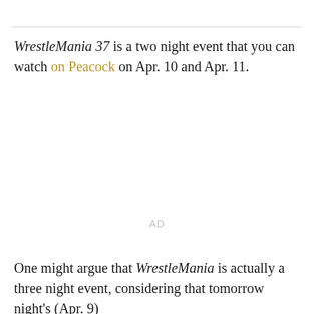WrestleMania 37 is a two night event that you can watch on Peacock on Apr. 10 and Apr. 11.
AD
One might argue that WrestleMania is actually a three night event, considering that tomorrow night's (Apr. 9)